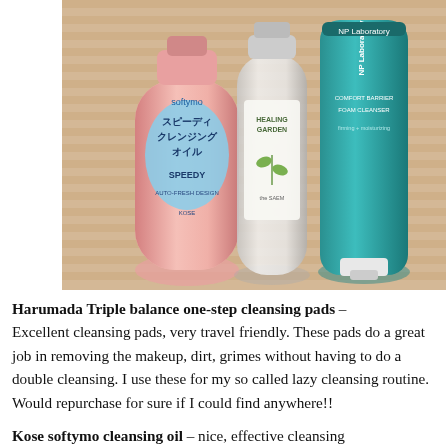[Figure (photo): Three skincare/cleansing products (Kose Softymo Speedy Cleansing Oil in a pink bottle, a white bottle labeled Healing Garden, and a teal tube labeled NP Laboratory) lying on a woven straw mat background.]
Harumada Triple balance one-step cleansing pads – Excellent cleansing pads, very travel friendly. These pads do a great job in removing the makeup, dirt, grimes without having to do a double cleansing. I use these for my so called lazy cleansing routine. Would repurchase for sure if I could find anywhere!!
Kose softymo cleansing oil – nice, effective cleansing